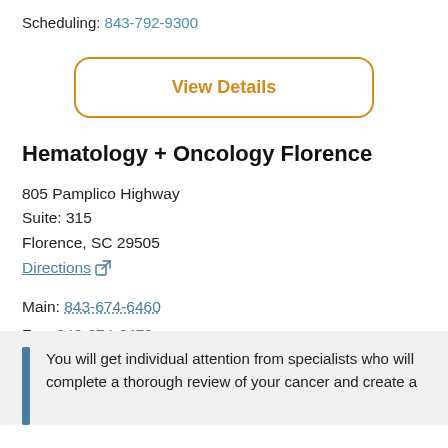Scheduling: 843-792-9300
View Details
Hematology + Oncology Florence
805 Pamplico Highway
Suite: 315
Florence, SC 29505
Directions
Main: 843-674-6460
Fax: 843-674-6470
View Details
You will get individual attention from specialists who will complete a thorough review of your cancer and create a